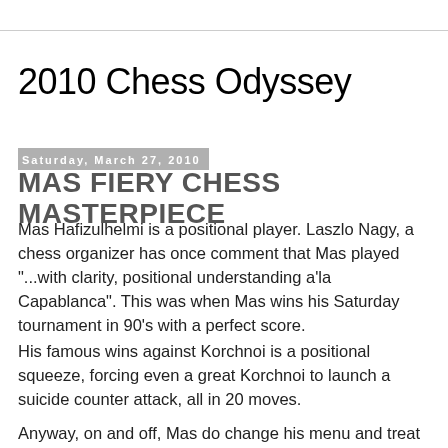2010 Chess Odyssey
Saturday, March 27, 2010
MAS FIERY CHESS MASTERPIECE
Mas Hafizulhelmi is a positional player. Laszlo Nagy, a chess organizer has once comment that Mas played "...with clarity, positional understanding a'la Capablanca". This was when Mas wins his Saturday tournament in 90's with a perfect score.
His famous wins against Korchnoi is a positional squeeze, forcing even a great Korchnoi to launch a suicide counter attack, all in 20 moves.
Anyway, on and off, Mas do change his menu and treat us...